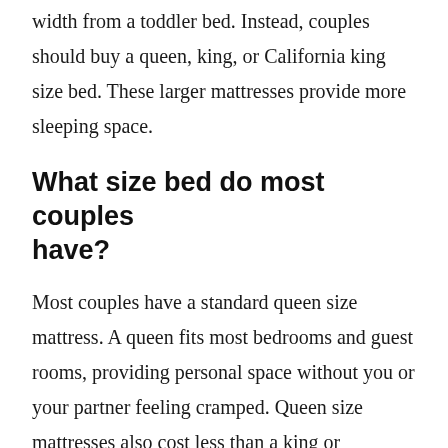width from a toddler bed. Instead, couples should buy a queen, king, or California king size bed. These larger mattresses provide more sleeping space.
What size bed do most couples have?
Most couples have a standard queen size mattress. A queen fits most bedrooms and guest rooms, providing personal space without you or your partner feeling cramped. Queen size mattresses also cost less than a king or California king, making them an ideal option if you’re on a budget.